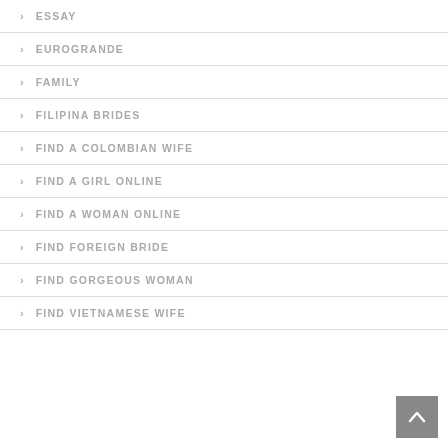ESSAY
EUROGRANDE
FAMILY
FILIPINA BRIDES
FIND A COLOMBIAN WIFE
FIND A GIRL ONLINE
FIND A WOMAN ONLINE
FIND FOREIGN BRIDE
FIND GORGEOUS WOMAN
FIND VIETNAMESE WIFE